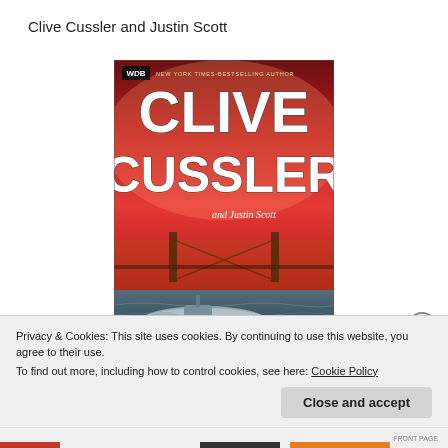Clive Cussler and Justin Scott
[Figure (photo): Book cover of a novel co-authored by Clive Cussler and Justin Scott. The cover has a red background with large white bold text reading 'CLIVE CUSSLER' and smaller text 'and Justin Scott'. A WDB badge and 'New York Times-Bestselling Author' text appear at the top. The bottom of the cover shows a submarine or naval vessel on water with a bridge in the background.]
Privacy & Cookies: This site uses cookies. By continuing to use this website, you agree to their use.
To find out more, including how to control cookies, see here: Cookie Policy
Close and accept